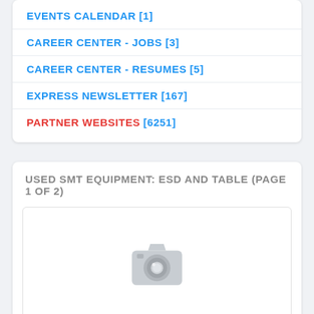EVENTS CALENDAR [1]
CAREER CENTER - JOBS [3]
CAREER CENTER - RESUMES [5]
EXPRESS NEWSLETTER [167]
PARTNER WEBSITES [6251]
USED SMT EQUIPMENT: ESD AND TABLE (PAGE 1 OF 2)
[Figure (photo): Placeholder camera icon image for SMT equipment listing]